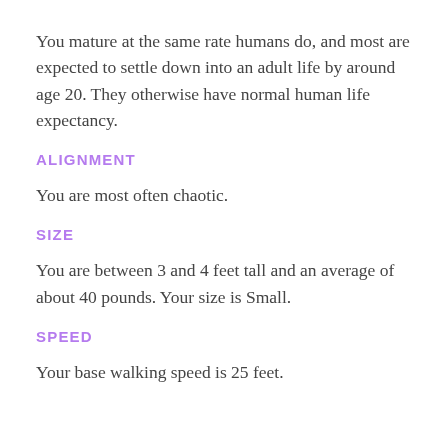You mature at the same rate humans do, and most are expected to settle down into an adult life by around age 20. They otherwise have normal human life expectancy.
ALIGNMENT
You are most often chaotic.
SIZE
You are between 3 and 4 feet tall and an average of about 40 pounds. Your size is Small.
SPEED
Your base walking speed is 25 feet.